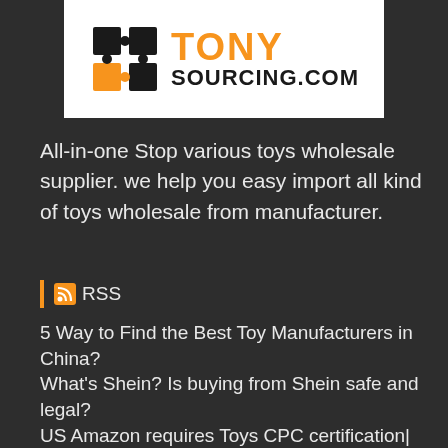[Figure (logo): Tony Sourcing logo with puzzle piece icon and text TONY SOURCING.COM]
All-in-one Stop various toys wholesale supplier. we help you easy import all kind of toys wholesale from manufacturer.
RSS
5 Way to Find the Best Toy Manufacturers in China?
What's Shein? Is buying from Shein safe and legal?
US Amazon requires Toys CPC certification| what is CPC and how to Get it?
9+ Best Chinese Wholesale Sourcing...